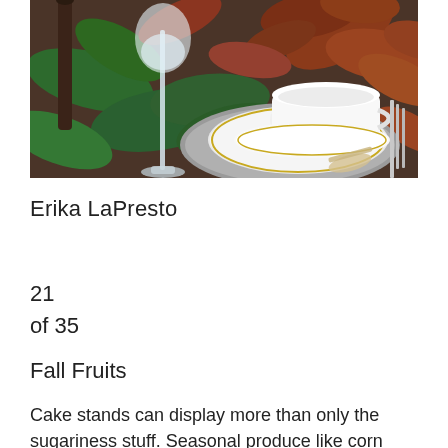[Figure (photo): A table setting with white china cup and saucer on a silver plate, tall wine glass with clear liquid, and decorative autumn leaves (green and rust/brown) arranged on a dark brown tablecloth, with fork and other silverware visible.]
Erika LaPresto
21
of 35
Fall Fruits
Cake stands can display more than only the sugariness stuff. Seasonal produce like corn